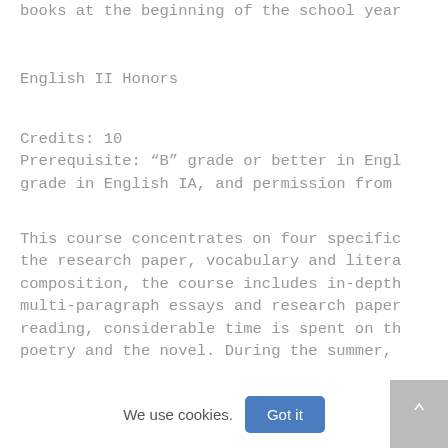books at the beginning of the school year
English II Honors
Credits: 10
Prerequisite: “B” grade or better in Engl grade in English IA, and permission from
This course concentrates on four specific the research paper, vocabulary and litera composition, the course includes in-depth multi-paragraph essays and research paper reading, considerable time is spent on th poetry and the novel. During the summer,
required to read assigned books and are a